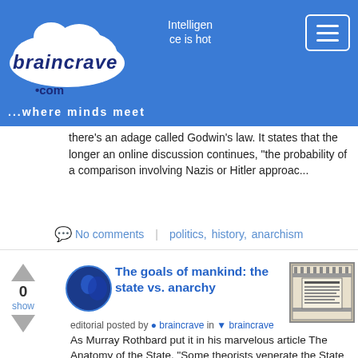braincrave.com — ...where minds meet | Intelligence is hot
there's an adage called Godwin's law. It states that the longer an online discussion continues, "the probability of a comparison involving Nazis or Hitler approac...
No comments   politics,   history,   anarchism
The goals of mankind: the state vs. anarchy
editorial posted by braincrave in braincrave
As Murray Rothbard put it in his marvelous article The Anatomy of the State, "Some theorists venerate the State as the apotheosis of society; others regard it as an amiable, though often inefficient,...
No comments   philosophy,   politics,   anarchism
Anarchy in the streets